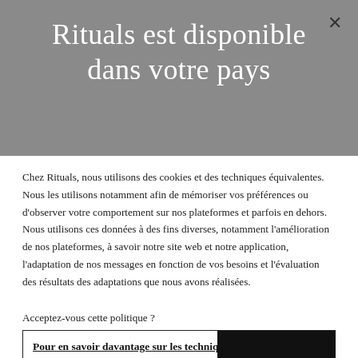Rituals est disponible dans votre pays
Chez Rituals, nous utilisons des cookies et des techniques équivalentes. Nous les utilisons notamment afin de mémoriser vos préférences ou d'observer votre comportement sur nos plateformes et parfois en dehors. Nous utilisons ces données à des fins diverses, notamment l'amélioration de nos plateformes, à savoir notre site web et notre application, l'adaptation de nos messages en fonction de vos besoins et l'évaluation des résultats des adaptations que nous avons réalisées.
Acceptez-vous cette politique ?
Pour en savoir davantage sur les techniques utilisées, veuillez consulter notre politique.